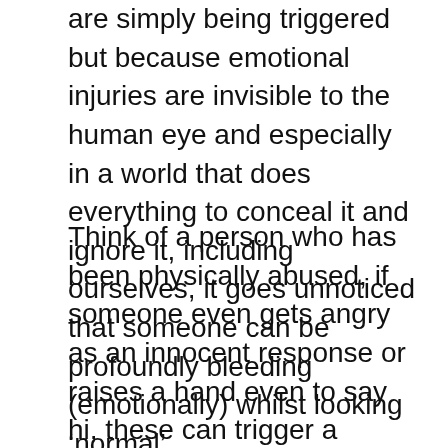are simply being triggered but because emotional injuries are invisible to the human eye and especially in a world that does everything to conceal it and ignore it, including ourselves, it goes unnoticed that someone can be profoundly bleeding (emotionally) whilst looking 'normal'.
Think of a person who has been physically abused, if someone even gets angry as an innocent response or raises a hand even to say hi, these can trigger a survival response and seen as threats, the person who has been hurt in the past, is programmed to detect danger, they will get ready to defend themselves from the anger, they will see the innocent gesture of a raised hand as one that is about to strike them. Emotional injuries work in the same way and people can react to emotional flashbacks, which means when they emotionally feel a feeling related to having been hurt or abused, they react in the same way as if that threat were immediate and real. These